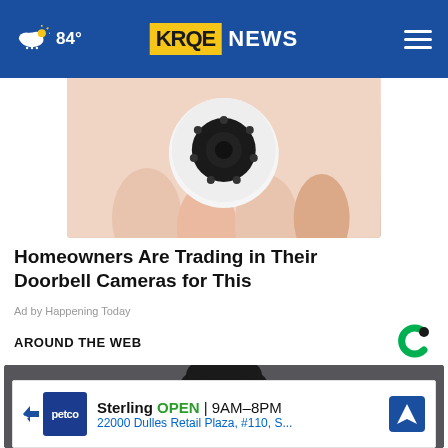84° KRQE NEWS
[Figure (photo): A hand holding a small white security camera with a circular lens and IR LEDs]
Homeowners Are Trading in Their Doorbell Cameras for This
Ad by Happening Today
AROUND THE WEB
[Figure (photo): A man with dark hair photographed from the shoulders up against a blurred background]
[Figure (other): Petco advertisement banner: Sterling OPEN 9AM-8PM, 22000 Dulles Retail Plaza, #110, S...]